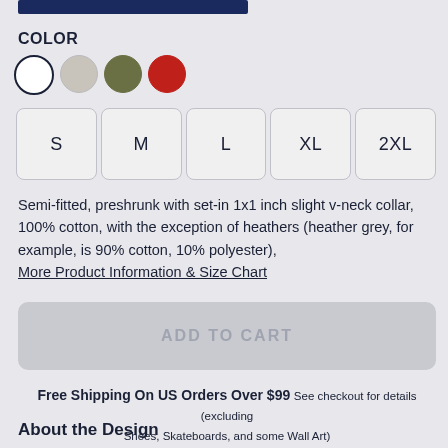COLOR
[Figure (illustration): Four color swatches: white (selected, outlined), light grey, olive green, red]
S
M
L
XL
2XL
Semi-fitted, preshrunk with set-in 1x1 inch slight v-neck collar, 100% cotton, with the exception of heathers (heather grey, for example, is 90% cotton, 10% polyester),
More Product Information & Size Chart
ADD TO CART
Free Shipping On US Orders Over $99 See checkout for details (excluding Shoes, Skateboards, and some Wall Art)
About the Design